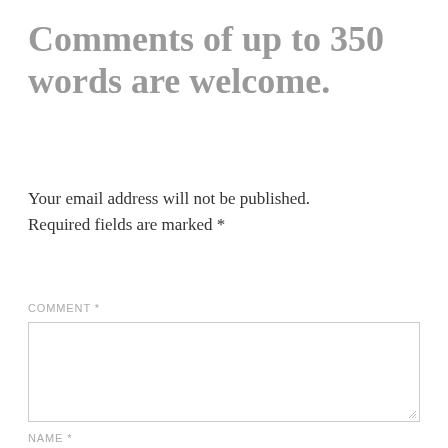Comments of up to 350 words are welcome.
Your email address will not be published. Required fields are marked *
COMMENT *
[Figure (other): Empty comment textarea input field with resize handle]
NAME *